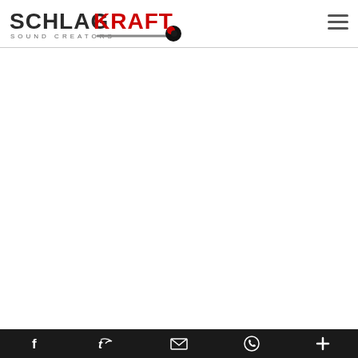[Figure (logo): SchlagKraft Sound Creators logo: bold text SCHLAG in dark gray, KRAFT in red, with SOUND CREATORS subtitle in spaced gray letters, and a slider/knob graphic with a red and black circular knob]
[Figure (other): Hamburger menu icon: three horizontal dark gray lines stacked vertically]
Facebook icon | Twitter/X icon | Email icon | WhatsApp icon | More icon